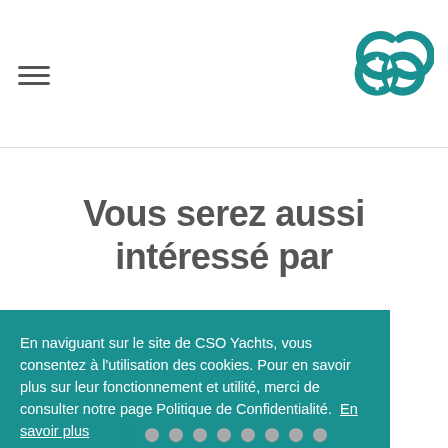[hamburger menu icon] [CSO Yachts logo]
Vous serez aussi intéressé par
En naviguant sur le site de CSO Yachts, vous consentez à l'utilisation des cookies. Pour en savoir plus sur leur fonctionnement et utilité, merci de consulter notre page Politique de Confidentialité.  En savoir plus
Refuser   Accepter